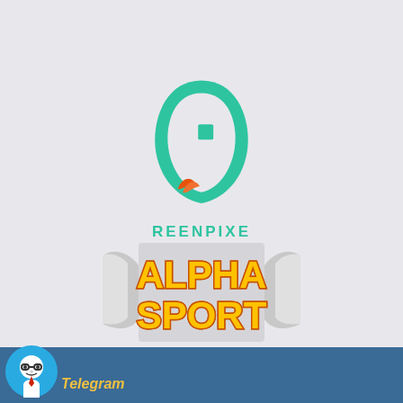[Figure (logo): Reenpixe logo: green teardrop/leaf shape with a small square cutout inside and an orange-red flame accent at the bottom, with the text REENPIXE in green below]
[Figure (logo): Alpha Sport logo: bold yellow text with orange outline reading ALPHA on top and SPORT below, with silver/grey ribbon banners on sides]
[Figure (logo): Telegram bot logo: blue circle with a white cartoon face wearing glasses and a tie, with 'Telegram' text in yellow italic below in the footer bar]